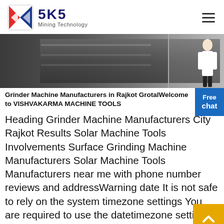[Figure (logo): SKS Mining Technology logo with red and blue geometric icon and company name]
[Figure (photo): Banner image showing industrial machinery/grinder machine interior with a person standing at right]
Grinder Machine Manufacturers in Rajkot GrotalWelcome to VISHVAKARMA MACHINE TOOLS
Heading Grinder Machine Manufacturers City Rajkot Results Solar Machine Tools Involvements Surface Grinding Machine Manufacturers Solar Machine Tools Manufacturers near me with phone number reviews and addressWarning date It is not safe to rely on the system timezone settings You are required to use the datetimezone setting or the date default timezone_set function